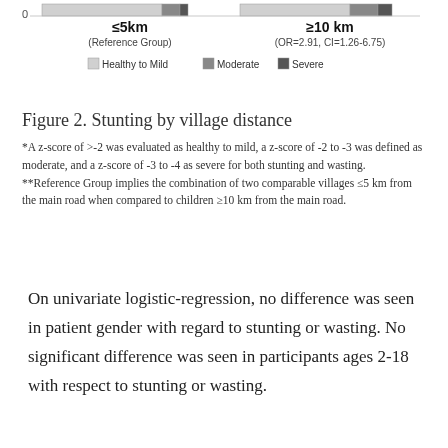[Figure (stacked-bar-chart): Stunting by village distance]
Figure 2. Stunting by village distance
*A z-score of >-2 was evaluated as healthy to mild, a z-score of -2 to -3 was defined as moderate, and a z-score of -3 to -4 as severe for both stunting and wasting. **Reference Group implies the combination of two comparable villages ≤5 km from the main road when compared to children ≥10 km from the main road.
On univariate logistic-regression, no difference was seen in patient gender with regard to stunting or wasting. No significant difference was seen in participants ages 2-18 with respect to stunting or wasting.